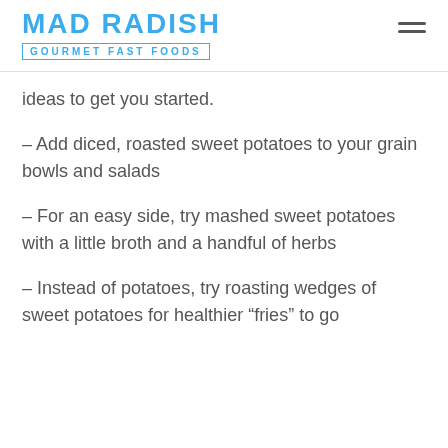MAD RADISH GOURMET FAST FOODS
ideas to get you started.
– Add diced, roasted sweet potatoes to your grain bowls and salads
– For an easy side, try mashed sweet potatoes with a little broth and a handful of herbs
– Instead of potatoes, try roasting wedges of sweet potatoes for healthier “fries” to go